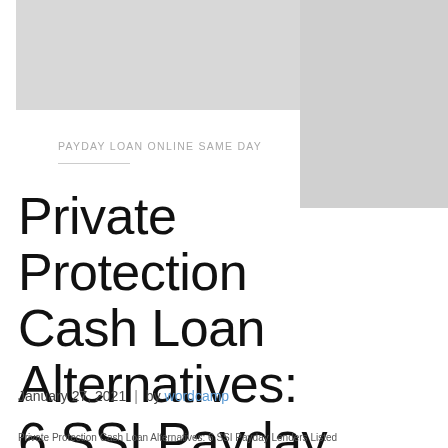[Figure (photo): Gray placeholder image block in upper left area]
[Figure (photo): Gray placeholder image block in upper right area]
PAYDAY LOAN ONLINE SAME DAY
Private Protection Cash Loan Alternatives: 6 SSI Payday Lenders…
January 27, 2021  |  by wordcamp
Private Protection Cash Loan Alternatives: 6 SSI Payday Lenders Listed